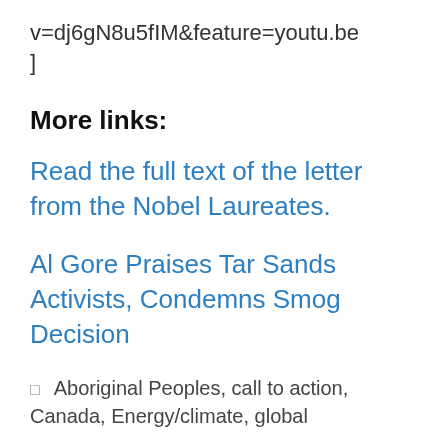v=dj6gN8u5fIM&feature=youtu.be]
More links:
Read the full text of the letter from the Nobel Laureates.
Al Gore Praises Tar Sands Activists, Condemns Smog Decision
□  Aboriginal Peoples, call to action, Canada, Energy/climate, global